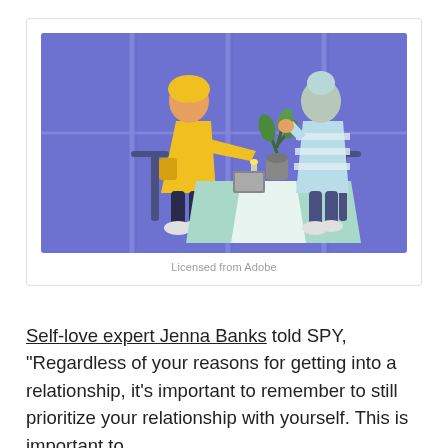[Figure (illustration): Flat-style illustration of two people sitting at a table having a conversation. One person wears a yellow coat and has a yellow head covering, the other wears a light blue and white striped outfit with a light blue hair bun. A plant and small items are on the table between them. Background is periwinkle/purple-blue with window panels.]
Licensed from Adobe
Self-love expert Jenna Banks told SPY, “Regardless of your reasons for getting into a relationship, it’s important to remember to still prioritize your relationship with yourself. This is important to